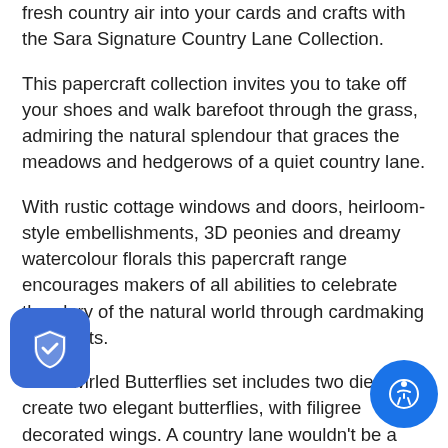fresh country air into your cards and crafts with the Sara Signature Country Lane Collection.
This papercraft collection invites you to take off your shoes and walk barefoot through the grass, admiring the natural splendour that graces the meadows and hedgerows of a quiet country lane.
With rustic cottage windows and doors, heirloom-style embellishments, 3D peonies and dreamy watercolour florals this papercraft range encourages makers of all abilities to celebrate the glory of the natural world through cardmaking and crafts.
The Swirled Butterflies set includes two dies to create two elegant butterflies, with filigree decorated wings. A country lane wouldn't be a country lane without these fluttering beauties! Simply add a small amount of adhesive to the bodies of the butterflies and lift the wings to add a 3D effect!
All you need is a die-cutting machine, a die and your chosen